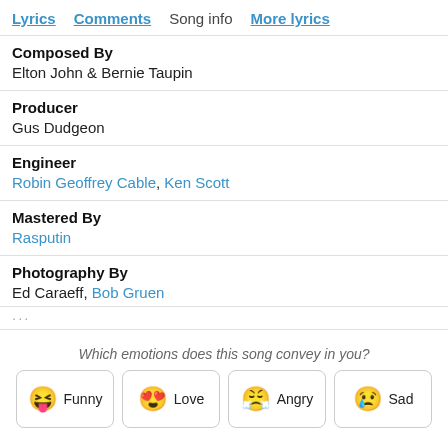Lyrics  Comments  Song info  More lyrics
Composed By
Elton John & Bernie Taupin
Producer
Gus Dudgeon
Engineer
Robin Geoffrey Cable, Ken Scott
Mastered By
Rasputin
Photography By
Ed Caraeff, Bob Gruen
Which emotions does this song convey in you?
😝 Funny
😍 Love
😤 Angry
😢 Sad